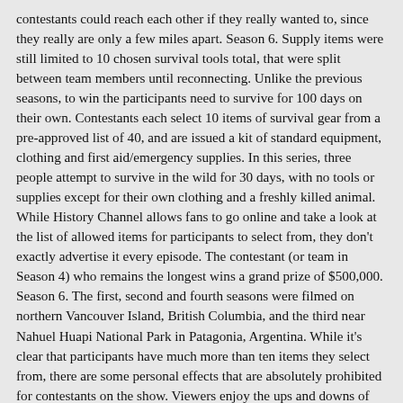contestants could reach each other if they really wanted to, since they really are only a few miles apart. Season 6. Supply items were still limited to 10 chosen survival tools total, that were split between team members until reconnecting. Unlike the previous seasons, to win the participants need to survive for 100 days on their own. Contestants each select 10 items of survival gear from a pre-approved list of 40, and are issued a kit of standard equipment, clothing and first aid/emergency supplies. In this series, three people attempt to survive in the wild for 30 days, with no tools or supplies except for their own clothing and a freshly killed animal. While History Channel allows fans to go online and take a look at the list of allowed items for participants to select from, they don't exactly advertise it every episode. The contestant (or team in Season 4) who remains the longest wins a grand prize of $500,000. Season 6. The first, second and fourth seasons were filmed on northern Vancouver Island, British Columbia, and the third near Nahuel Huapi National Park in Patagonia, Argentina. While it's clear that participants have much more than ten items they select from, there are some personal effects that are absolutely prohibited for contestants on the show. Viewers enjoy the ups and downs of the fish that got away or the fish that was stolen by a bear far more than watching someone thrive and survive off the land. Contestants also